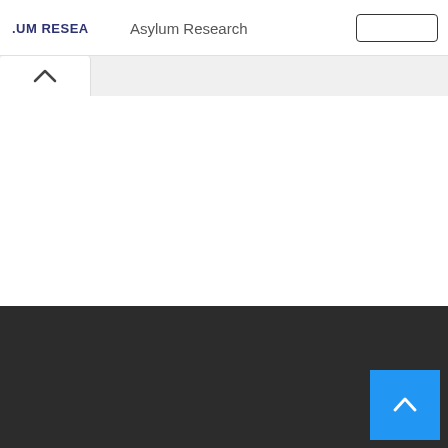.UM RESEA  Asylum Research
[Figure (screenshot): Website screenshot showing Asylum Research header with logo text '.UM RESEA' and page title 'Asylum Research', a search box outline in top right, an active tab with a chevron/caret up icon, a large white content area, and a dark footer with a blue scroll-to-top button in the bottom right corner containing a white upward chevron.]